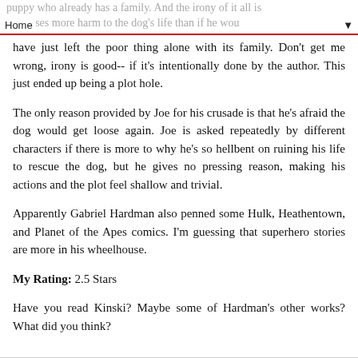Home
have just left the poor thing alone with its family. Don't get me wrong, irony is good-- if it's intentionally done by the author. This just ended up being a plot hole.
The only reason provided by Joe for his crusade is that he's afraid the dog would get loose again. Joe is asked repeatedly by different characters if there is more to why he's so hellbent on ruining his life to rescue the dog, but he gives no pressing reason, making his actions and the plot feel shallow and trivial.
Apparently Gabriel Hardman also penned some Hulk, Heathentown, and Planet of the Apes comics. I'm guessing that superhero stories are more in his wheelhouse.
My Rating: 2.5 Stars
Have you read Kinski? Maybe some of Hardman's other works? What did you think?